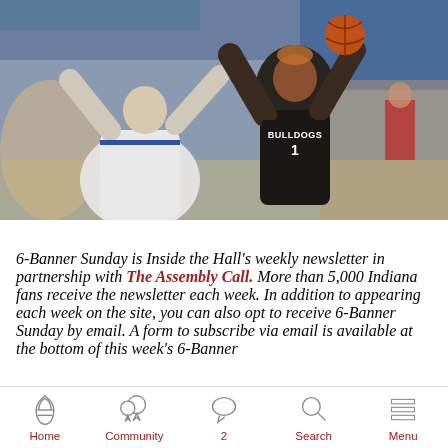[Figure (photo): A basketball player wearing a black 'Bulldogs' jersey with number 1 shoots the ball over a defender in a gymnasium. The shooter has his arms raised and appears to be mid-shot. Another player in white is defending. Spectators are visible in the background.]
6-Banner Sunday is Inside the Hall's weekly newsletter in partnership with The Assembly Call. More than 5,000 Indiana fans receive the newsletter each week. In addition to appearing each week on the site, you can also opt to receive 6-Banner Sunday by email. A form to subscribe via email is available at the bottom of this week's 6-Banner
Home  Community  2  Search  Menu